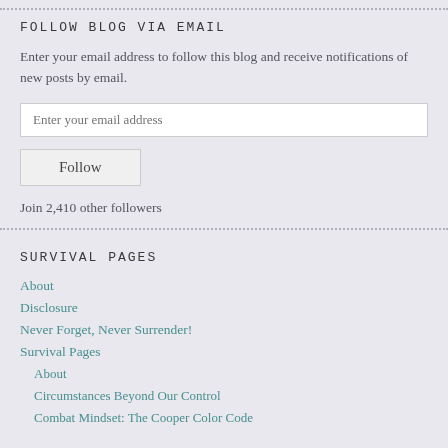FOLLOW BLOG VIA EMAIL
Enter your email address to follow this blog and receive notifications of new posts by email.
Join 2,410 other followers
SURVIVAL PAGES
About
Disclosure
Never Forget, Never Surrender!
Survival Pages
About
Circumstances Beyond Our Control
Combat Mindset: The Cooper Color Code